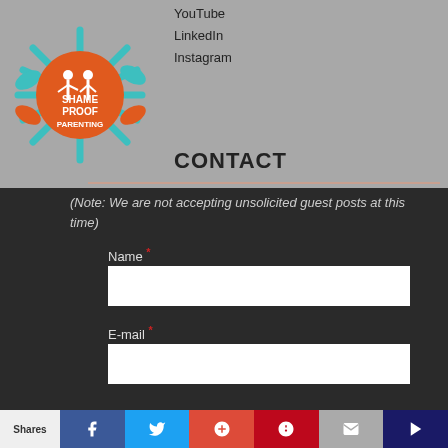[Figure (logo): Shame Proof Parenting logo - orange circle with teal rays and figures]
YouTube
LinkedIn
Instagram
CONTACT
(Note: We are not accepting unsolicited guest posts at this time)
Name *
E-mail *
Shares  [Facebook] [Twitter] [Google+] [Pinterest] [Email] [Crown]